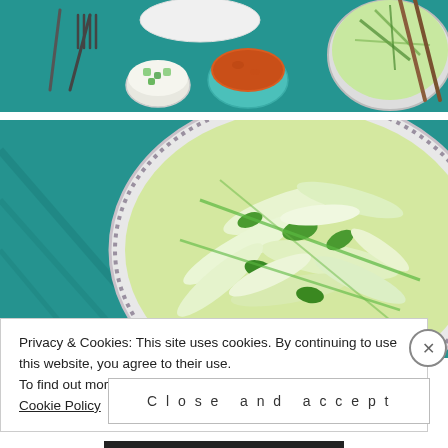[Figure (photo): Overhead view of a teal/turquoise cloth with a fork and knife, small bowls containing diced cucumber/avocado, orange romesco sauce, and a large bowl of shredded green cabbage salad with chopsticks, along with a white plate.]
[Figure (photo): Close-up of a white ceramic bowl filled with shredded napa cabbage salad with cilantro and green onions, sitting on a teal fabric background.]
Privacy & Cookies: This site uses cookies. By continuing to use this website, you agree to their use.
To find out more, including how to control cookies, see here: Cookie Policy
Close and accept